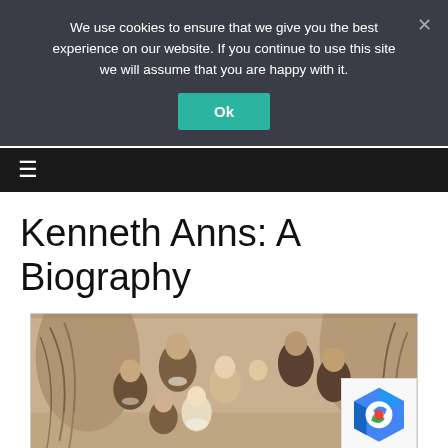We use cookies to ensure that we give you the best experience on our website. If you continue to use this site we will assume that you are happy with it.
Ok
Kenneth Anns: A Biography
[Figure (photo): Sepia-toned vintage group photograph of several children, formal portrait studio setting with decorative plant background]